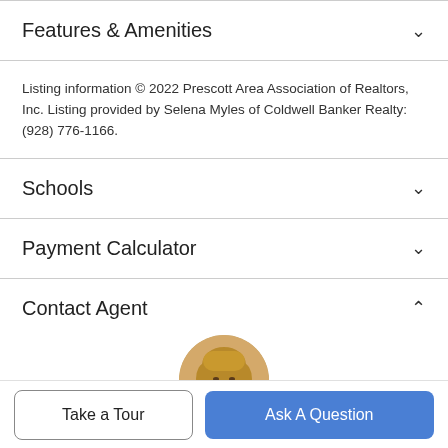Features & Amenities
Listing information © 2022 Prescott Area Association of Realtors, Inc. Listing provided by Selena Myles of Coldwell Banker Realty: (928) 776-1166.
Schools
Payment Calculator
Contact Agent
[Figure (photo): Headshot photo of a woman with short blonde hair, smiling]
Take a Tour
Ask A Question